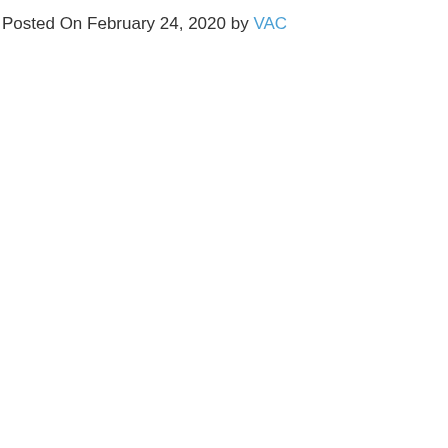Posted On February 24, 2020 by VAC